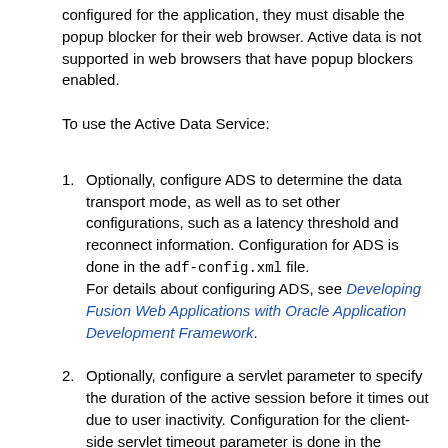configured for the application, they must disable the popup blocker for their web browser. Active data is not supported in web browsers that have popup blockers enabled.
To use the Active Data Service:
Optionally, configure ADS to determine the data transport mode, as well as to set other configurations, such as a latency threshold and reconnect information. Configuration for ADS is done in the adf-config.xml file. For details about configuring ADS, see Developing Fusion Web Applications with Oracle Application Development Framework.
Optionally, configure a servlet parameter to specify the duration of the active session before it times out due to user inactivity. Configuration for the client-side servlet timeout parameter is done in the web.xml file. For details about configuring the servlet timeout parameter, see Developing Fusion Web Applications